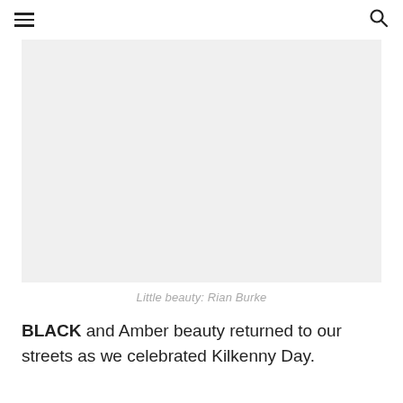≡  🔍
[Figure (photo): A light gray placeholder image block representing a photo with caption 'Little beauty: Rian Burke']
Little beauty: Rian Burke
BLACK and Amber beauty returned to our streets as we celebrated Kilkenny Day.